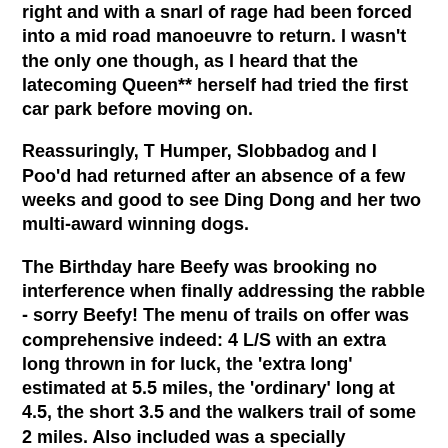right and with a snarl of rage had been forced into a mid road manoeuvre to return. I wasn't the only one though, as I heard that the latecoming Queen** herself had tried the first car park before moving on.
Reassuringly, T Humper, Slobbadog and I Poo'd had returned after an absence of a few weeks and good to see Ding Dong and her two multi-award winning dogs.
The Birthday hare Beefy was brooking no interference when finally addressing the rabble - sorry Beefy! The menu of trails on offer was comprehensive indeed: 4 L/S with an extra long thrown in for luck, the 'extra long' estimated at 5.5 miles, the 'ordinary' long at 4.5, the short 3.5 and the walkers trail of some 2 miles. Also included was a specially prepared SS which will be described later..
The various trails were well thought out and converged at several points. Poacher and hound whizzed past Winfield and me three or four times on his sightseeing tour of the scenic nature reserve. Late arrivals 3sum and